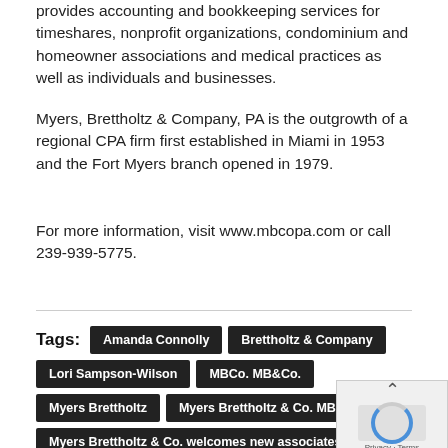provides accounting and bookkeeping services for timeshares, nonprofit organizations, condominium and homeowner associations and medical practices as well as individuals and businesses.
Myers, Brettholtz & Company, PA is the outgrowth of a regional CPA firm first established in Miami in 1953 and the Fort Myers branch opened in 1979.
For more information, visit www.mbcopa.com or call 239-939-5775.
Tags: Amanda Connolly | Brettholtz & Company | Lori Sampson-Wilson | MBCo. MB&Co. | Myers Brettholtz | Myers Brettholtz & Co. MBC | Myers Brettholtz & Co. welcomes new associates | Myers Brettholtz & Company PA